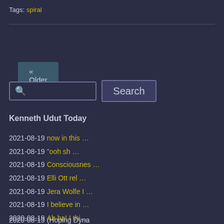Tags: spiral
« Older posts
Search
Kenneth Udut Today
2021-08-19 now in this …
2021-08-19 "ooh sh …
2021-08-19 Consciousnes …
2021-08-19 Elli Ott rel …
2021-08-19 Jera Wolfe I …
2021-08-19 I believe in …
2020-08-19 Ah ha! I thi …
2020-08-19 "There' …
2020-08-19 (Hoping Dyna…